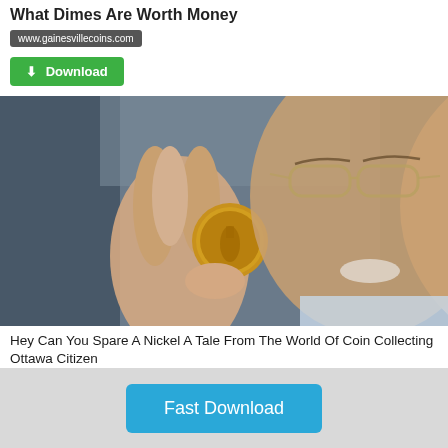What Dimes Are Worth Money
www.gainesvillecoins.com
Download
[Figure (photo): An older man with glasses holding up a gold coin between his thumb and forefinger, smiling, blurred background]
Hey Can You Spare A Nickel A Tale From The World Of Coin Collecting Ottawa Citizen
Fast Download